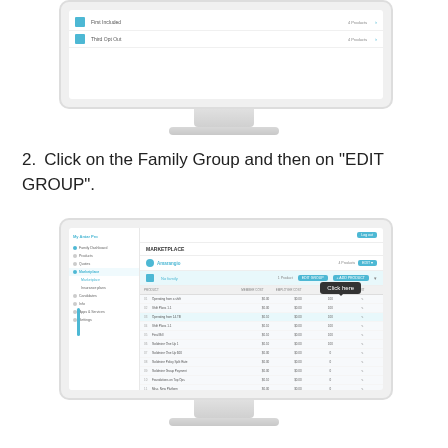[Figure (screenshot): Top portion of a computer monitor showing a web application interface with two list rows containing teal folder icons, text items, and navigation arrows]
2.  Click on the Family Group and then on "EDIT GROUP".
[Figure (screenshot): Computer monitor showing a web application (My Antar) with a sidebar navigation, main content area showing family groups with a 'Click here' tooltip pointing to an EDIT GROUP button, and a data table with multiple rows of items]